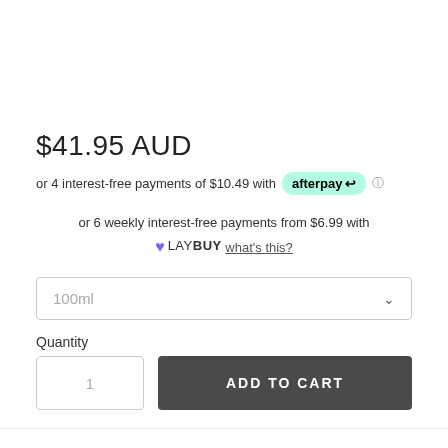$41.95 AUD
or 4 interest-free payments of $10.49 with afterpay
or 6 weekly interest-free payments from $6.99 with LAYBUY what's this?
100ml
Quantity
1
ADD TO CART
BLUE LOTUS | PATCHOULI |